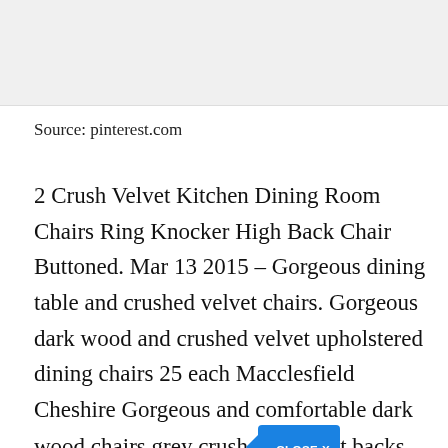[Figure (photo): Grey placeholder image area at top of page]
Source: pinterest.com
2 Crush Velvet Kitchen Dining Room Chairs Ring Knocker High Back Chair Buttoned. Mar 13 2015 – Gorgeous dining table and crushed velvet chairs. Gorgeous dark wood and crushed velvet upholstered dining chairs 25 each Macclesfield Cheshire Gorgeous and comfortable dark wood chairs grey crushed [CLOSE X] backs and seats